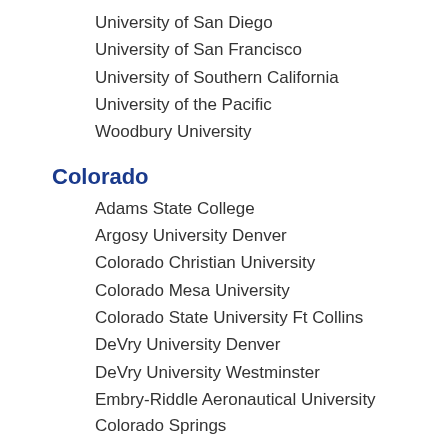University of San Diego
University of San Francisco
University of Southern California
University of the Pacific
Woodbury University
Colorado
Adams State College
Argosy University Denver
Colorado Christian University
Colorado Mesa University
Colorado State University Ft Collins
DeVry University Denver
DeVry University Westminster
Embry-Riddle Aeronautical University Colorado Springs